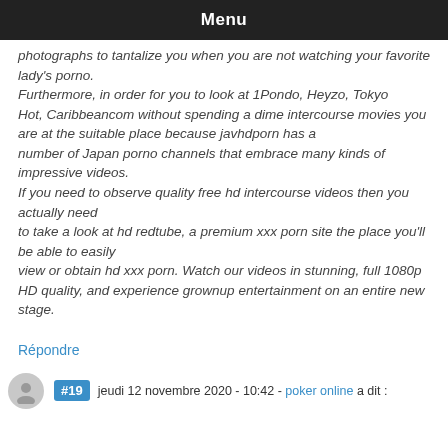Menu
photographs to tantalize you when you are not watching your favorite lady's porno. Furthermore, in order for you to look at 1Pondo, Heyzo, Tokyo Hot, Caribbeancom without spending a dime intercourse movies you are at the suitable place because javhdporn has a number of Japan porno channels that embrace many kinds of impressive videos. If you need to observe quality free hd intercourse videos then you actually need to take a look at hd redtube, a premium xxx porn site the place you'll be able to easily view or obtain hd xxx porn. Watch our videos in stunning, full 1080p HD quality, and experience grownup entertainment on an entire new stage.
Répondre
#19 jeudi 12 novembre 2020 - 10:42 - poker online a dit :